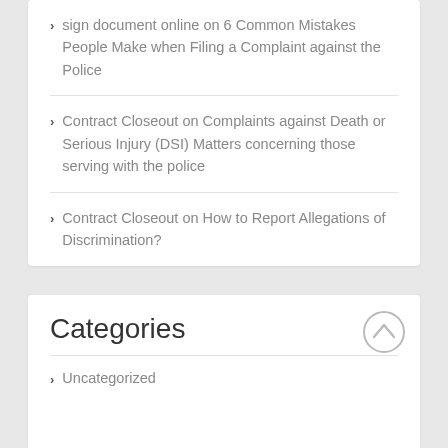sign document online on 6 Common Mistakes People Make when Filing a Complaint against the Police
Contract Closeout on Complaints against Death or Serious Injury (DSI) Matters concerning those serving with the police
Contract Closeout on How to Report Allegations of Discrimination?
Categories
Uncategorized